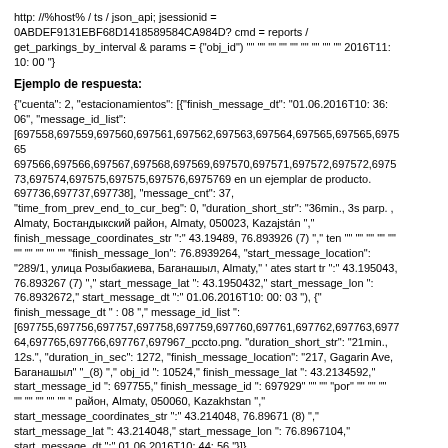http: //%host% / ts / json_api; jsessionid = 0ABDEF9131EBF68D1418589584CA984D? cmd = reports / get_parkings_by_interval & params = {"obj_id") "" "" "" "" "" "" "" "" "" 2016T11: 10: 00 "}
Ejemplo de respuesta:
{"cuenta": 2, "estacionamientos": [{"finish_message_dt": "01.06.2016T10: 36: 06", "message_id_list": [697558,697559,697560,697561,697562,697563,697564,697565,697565,697565 697566,697566,697567,697568,697569,697570,697571,697572,697572,697573,697574,697575,697575,697576,6975769 en un ejemplar de producto. 697736,697737,697738], "message_cnt": 37, "time_from_prev_end_to_cur_beg": 0, "duration_short_str": "36min., 3s parp. , Almaty, Бостандыкский район, Almaty, 050023, Kazajstán "," finish_message_coordinates_str ":" 43.19489, 76.893926 (7) "," ten "" "" "" "" "" "" "" "" "" "" "finish_message_lon": 76.8939264, "start_message_location": "289/1, улица Розыбакиева, Баганашыл, Almaty," ' ates start tr ":" 43.195043, 76.893267 (7) "," start_message_lat ": 43.1950432," start_message_lon ": 76.8932672," start_message_dt ":" 01.06.2016T10: 00: 03 "), {" finish_message_dt " : 08 "," message_id_list ": [697755,697756,697757,697758,697759,697760,697761,697762,697763,697764,697765,697766,697767,697967_pccto.png. "duration_short_str": "21min., 12s.", "duration_in_sec": 1272, "finish_message_location": "217, Gagarin Ave, Баганашыл" "_(8)"," obj_id ": 10524," finish_message_lat ": 43.2134592," start_message_id ": 697755," finish_message_id ": 697929" "" "" "por" "" "" "" "" "" "" "" " район, Almaty, 050060, Kazakhstan "," start_message_coordinates_str ":" 43.214048, 76.89671 (8) "," start_message_lat ": 43.214048," start_message_lon ": 76.8967104," start_message_dt ":" 01.06.2016T10: 44: 56 "}]}